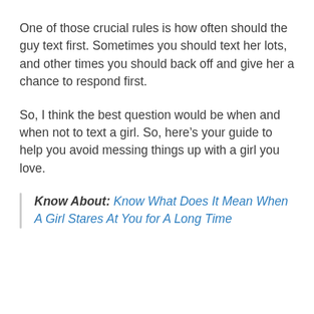One of those crucial rules is how often should the guy text first. Sometimes you should text her lots, and other times you should back off and give her a chance to respond first.
So, I think the best question would be when and when not to text a girl. So, here’s your guide to help you avoid messing things up with a girl you love.
Know About: Know What Does It Mean When A Girl Stares At You for A Long Time